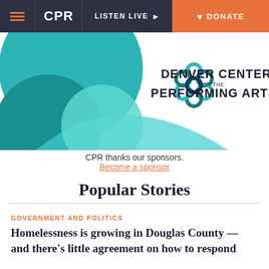CPR | LISTEN LIVE | DONATE
[Figure (logo): Denver Center for the Performing Arts logo with teal abstract shapes and chain-link circular emblem]
CPR thanks our sponsors. Become a sponsor
Popular Stories
GOVERNMENT AND POLITICS
Homelessness is growing in Douglas County — and there’s little agreement on how to respond